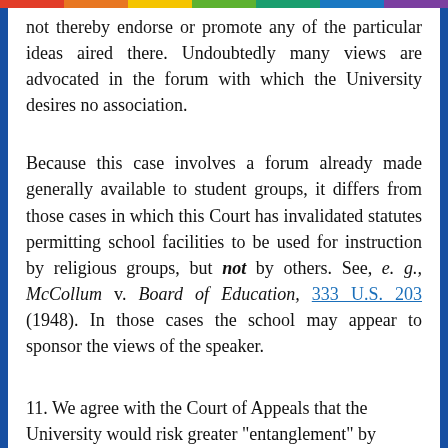not thereby endorse or promote any of the particular ideas aired there. Undoubtedly many views are advocated in the forum with which the University desires no association.
Because this case involves a forum already made generally available to student groups, it differs from those cases in which this Court has invalidated statutes permitting school facilities to be used for instruction by religious groups, but not by others. See, e. g., McCollum v. Board of Education, 333 U.S. 203 (1948). In those cases the school may appear to sponsor the views of the speaker.
11. We agree with the Court of Appeals that the University would risk greater "entanglement" by attempting to enforce its exclusion of "religious worship" and "religious speech." See Chess v. Widmar, 635 F.2d 1310, 1318 (CA8 1980). Initially,